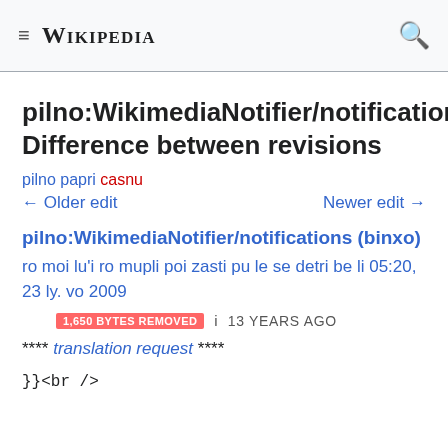≡  WIKIPEDIA  🔍
pilno:WikimediaNotifier/notifications: Difference between revisions
pilno papri casnu
← Older edit    Newer edit →
pilno:WikimediaNotifier/notifications (binxo)
ro moi lu'i ro mupli poi zasti pu le se detri be li 05:20, 23 ly. vo 2009
1,650 BYTES REMOVED  i  13 YEARS AGO
**** translation request ****
}}<br />